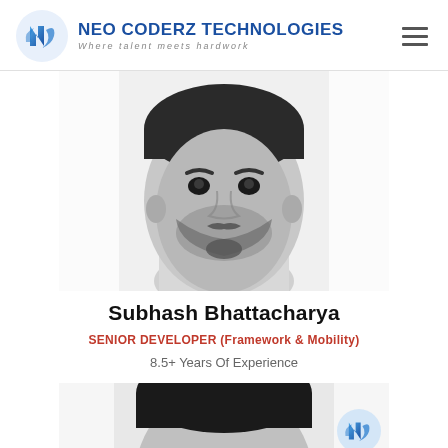NEO CODERZ TECHNOLOGIES — Where talent meets hardwork
[Figure (photo): Black and white portrait photo of Subhash Bhattacharya, a man with a beard, looking up slightly]
Subhash Bhattacharya
SENIOR DEVELOPER (Framework & Mobility)
8.5+ Years Of Experience
[Figure (photo): Black and white portrait photo of another person, partially visible from top, with Neo Coderz Technologies logo badge in bottom right]